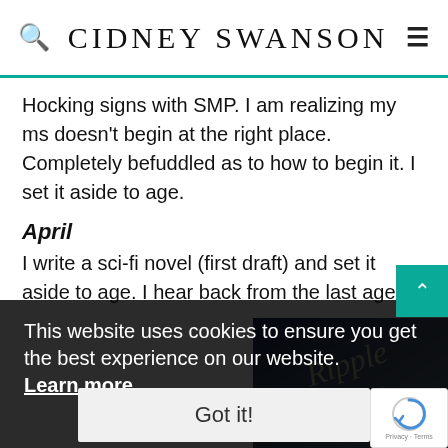CIDNEY SWANSON
Hocking signs with SMP. I am realizing my ms doesn't begin at the right place. Completely befuddled as to how to begin it. I set it aside to age.
April
I write a sci-fi novel (first draft) and set it aside to age. I hear back from the last agent and last editor who had expressed interest in my ms. (Another appetizing serving of "no, thank you.") I decide to indie-publish my ms. since it is nearly done–if I could just find that slippery, that elusive… beginning. I feel pretty certain there is a market for this story, even if it isn't the traditional one. I work with the amazing Claudia at phatpuppyarts.com to get a cover for my novel, Ripple.
May
I buff Ripple 'til it glistens. The novel gets a last
This website uses cookies to ensure you get the best experience on our website. Learn more
Got it!